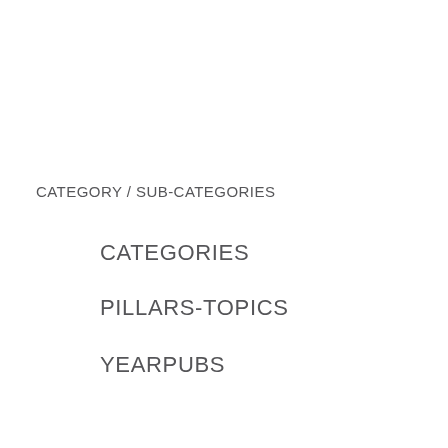CATEGORY / SUB-CATEGORIES
CATEGORIES
PILLARS-TOPICS
YEARPUBS